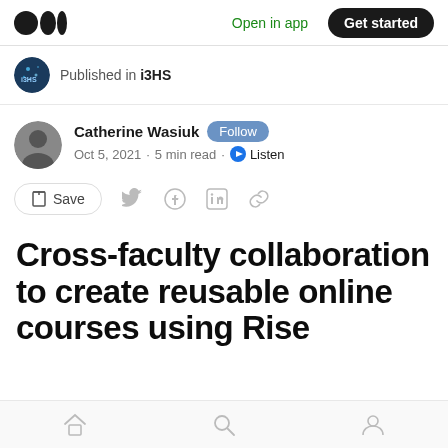Open in app  Get started
Published in i3HS
Catherine Wasiuk  Follow
Oct 5, 2021 · 5 min read · Listen
Save
Cross-faculty collaboration to create reusable online courses using Rise
Home  Search  Profile